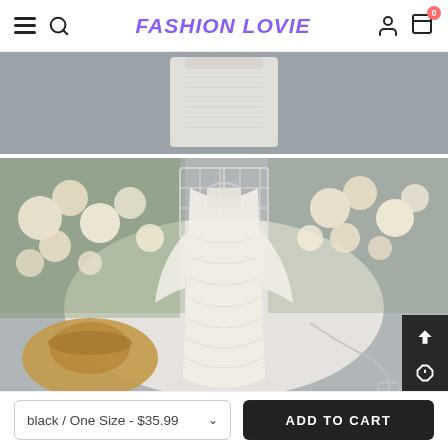FASHION LOVE
[Figure (photo): Close-up top-down product photo of a white knit dress on a grey background]
[Figure (photo): Flat lay photo of a white long-sleeve knit bodycon dress with a square neckline, displayed on a white fur rug with roses flowers, a straw hat, and a silver necklace with a small bag]
black / One Size - $35.99
ADD TO CART